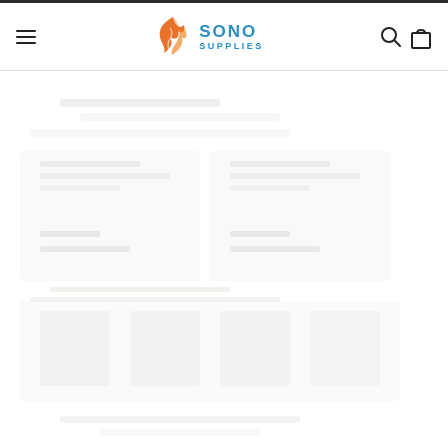[Figure (logo): Sono Supplies logo with orange flame/swirl icon and blue text reading SONO SUPPLIES]
[Figure (screenshot): Website header navigation with hamburger menu on left, Sono Supplies logo in center, search and cart icons on right, followed by a product listing page with faded/watermarked product images below]